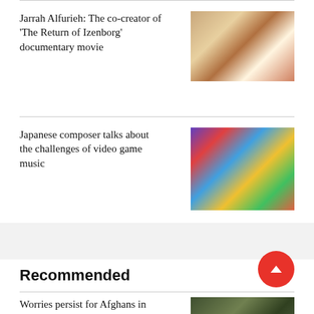Jarrah Alfurieh: The co-creator of ‘The Return of Izenborg’ documentary movie
[Figure (photo): Photo of a man in traditional Arab dress at what appears to be an exhibition or event]
Japanese composer talks about the challenges of video game music
[Figure (photo): Colorful video game character artwork, appears to be from a classic Japanese video game]
Recommended
Worries persist for Afghans in
[Figure (photo): Dark outdoor photo, possibly related to Afghanistan]